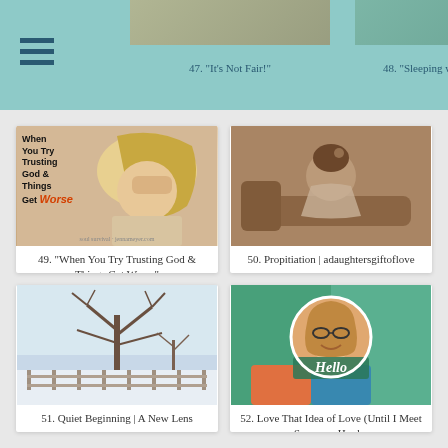47. "It's Not Fair!" | 48. "Sleeping with Frogs"
[Figure (photo): Blog post thumbnail for item 49: Woman with head in hand, text overlay reading 'When You Try Trusting God & Things Get Worse']
49. "When You Try Trusting God & Things Get Worse"
[Figure (photo): Blog post thumbnail for item 50: Vintage sepia photo of a woman reclining on a chaise lounge]
50. Propitiation | adaughtersgiftoflove
[Figure (photo): Blog post thumbnail for item 51: Winter scene with bare trees and a fence in snow]
51. Quiet Beginning | A New Lens
[Figure (photo): Blog post thumbnail for item 52: Circular profile photo of a woman with glasses and bobbed hair, with 'Hello' text overlay]
52. Love That Idea of Love (Until I Meet Someone Hard...